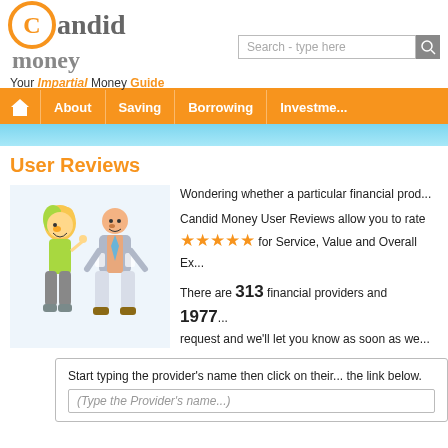[Figure (logo): Candid Money logo with orange circle C, grey text 'andid money', tagline 'Your Impartial Money Guide']
[Figure (screenshot): Search bar with placeholder 'Search - type here' and search button]
[Figure (infographic): Navigation bar with orange background: home icon, About, Saving, Borrowing, Investme(nt)]
[Figure (illustration): Cartoon illustration of a happy woman and a man turning his pockets inside out]
User Reviews
Wondering whether a particular financial prod...
Candid Money User Reviews allow you to rate ★★★★★ for Service, Value and Overall Ex...
There are 313 financial providers and 1977 ... request and we'll let you know as soon as we...
Start typing the provider's name then click on their... the link below.
(Type the Provider's name...)